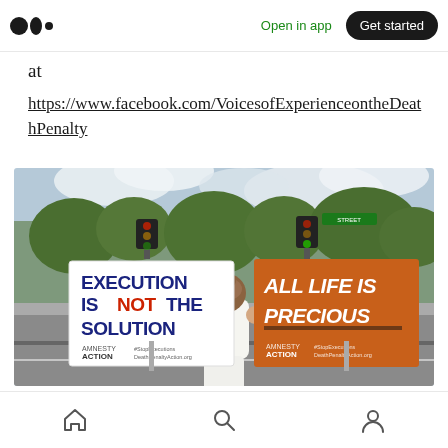Medium app header — Open in app | Get started
at
https://www.facebook.com/VoicesofExperienceontheDeathPenalty
[Figure (photo): A person standing at a road intersection holding two protest signs: left sign reads 'EXECUTION IS NOT THE SOLUTION' (Amnesty Action), right sign reads 'ALL LIFE IS PRECIOUS' (Amnesty Action). Background shows trees, traffic lights, and passing car.]
Mobile browser bottom navigation bar with home, search, and profile icons